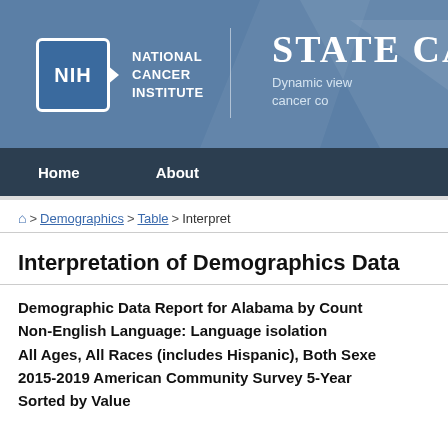NIH National Cancer Institute — STATE CA — Dynamic view cancer co
Home | About
🏠 > Demographics > Table > Interpret
Interpretation of Demographics Data
Demographic Data Report for Alabama by Count Non-English Language: Language isolation All Ages, All Races (includes Hispanic), Both Sexe 2015-2019 American Community Survey 5-Year Sorted by Value